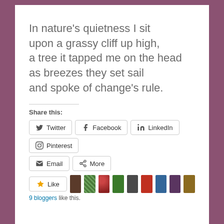In nature's quietness I sit
upon a grassy cliff up high,
a tree it tapped me on the head
as breezes they set sail
and spoke of change's rule.
Share this:
Twitter
Facebook
LinkedIn
Pinterest
Email
More
Like
9 bloggers like this.